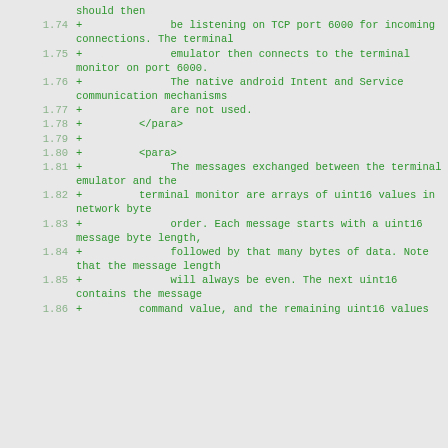should then
1.74    +              be listening on TCP port 6000 for incoming connections. The terminal
1.75    +              emulator then connects to the terminal monitor on port 6000.
1.76    +              The native android Intent and Service communication mechanisms
1.77    +              are not used.
1.78    +         </para>
1.79    +
1.80    +         <para>
1.81    +              The messages exchanged between the terminal emulator and the
1.82    +         terminal monitor are arrays of uint16 values in network byte
1.83    +              order. Each message starts with a uint16 message byte length,
1.84    +              followed by that many bytes of data. Note that the message length
1.85    +              will always be even. The next uint16 contains the message
1.86    +         command value, and the remaining uint16 values